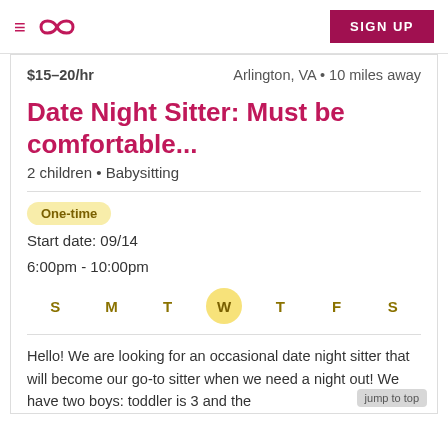≡  ∞   SIGN UP
$15–20/hr   Arlington, VA • 10 miles away
Date Night Sitter: Must be comfortable...
2 children • Babysitting
One-time
Start date: 09/14
6:00pm - 10:00pm
S  M  T  W  T  F  S
Hello! We are looking for an occasional date night sitter that will become our go-to sitter when we need a night out! We have two boys: toddler is 3 and the